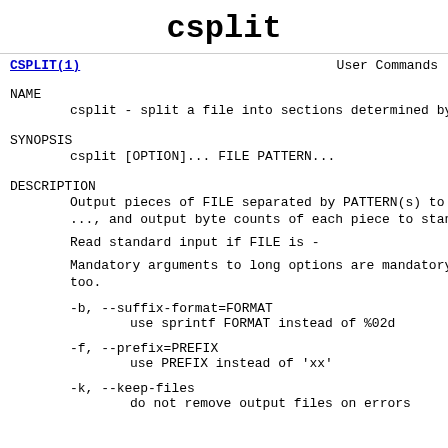csplit
CSPLIT(1)                  User Commands
NAME
csplit - split a file into sections determined by
SYNOPSIS
csplit [OPTION]... FILE PATTERN...
DESCRIPTION
Output  pieces of FILE separated by PATTERN(s) to
..., and output byte counts of each piece to stand
Read standard input if FILE is -
Mandatory arguments to long options are  mandatory
too.
-b, --suffix-format=FORMAT
        use sprintf FORMAT instead of %02d
-f, --prefix=PREFIX
        use PREFIX instead of 'xx'
-k, --keep-files
        do not remove output files on errors